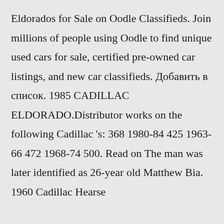Eldorados for Sale on Oodle Classifieds. Join millions of people using Oodle to find unique used cars for sale, certified pre-owned car listings, and new car classifieds. Добавить в список. 1985 CADILLAC ELDORADO.Distributor works on the following Cadillac 's: 368 1980-84 425 1963-66 472 1968-74 500. Read on The man was later identified as 26-year old Matthew Bia. 1960 Cadillac Hearse